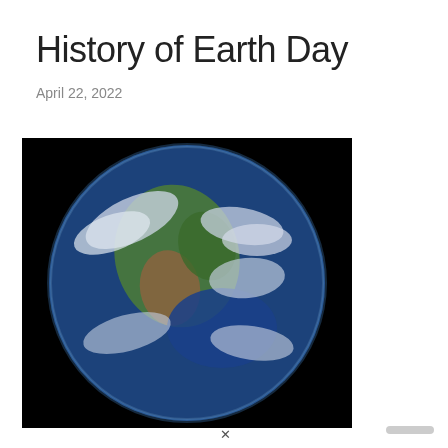History of Earth Day
April 22, 2022
[Figure (photo): Photograph of Earth from space showing North America, blue oceans, green landmass, white cloud formations against black space background.]